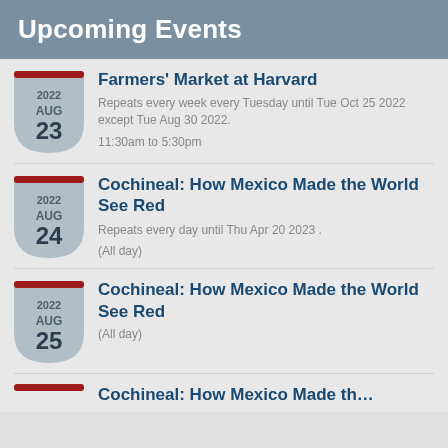Upcoming Events
2022 AUG 23 | Farmers' Market at Harvard | Repeats every week every Tuesday until Tue Oct 25 2022 except Tue Aug 30 2022. | 11:30am to 5:30pm
2022 AUG 24 | Cochineal: How Mexico Made the World See Red | Repeats every day until Thu Apr 20 2023 . | (All day)
2022 AUG 25 | Cochineal: How Mexico Made the World See Red | (All day)
Cochineal: How Mexico Made the...